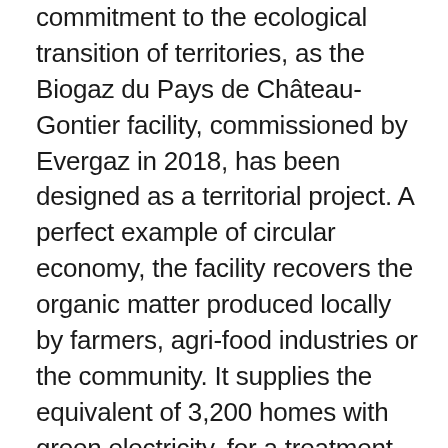commitment to the ecological transition of territories, as the Biogaz du Pays de Château-Gontier facility, commissioned by Evergaz in 2018, has been designed as a territorial project. A perfect example of circular economy, the facility recovers the organic matter produced locally by farmers, agri-food industries or the community. It supplies the equivalent of 3,200 homes with green electricity, for a treatment capacity of 35,000 tonnes of waste per year. The green heat generated by the site is used, via a heating network cofinanced by ADEME, by the production process of the Perreault cheese factory located near the